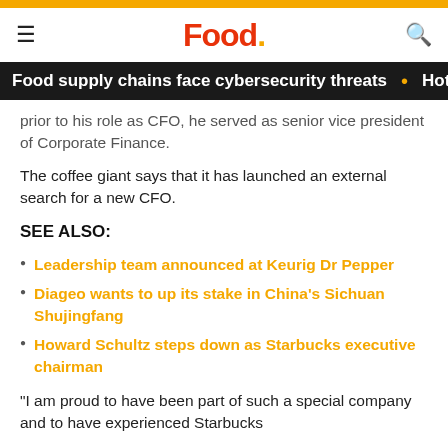Food.
Food supply chains face cybersecurity threats • Hotelie
prior to his role as CFO, he served as senior vice president of Corporate Finance.
The coffee giant says that it has launched an external search for a new CFO.
SEE ALSO:
Leadership team announced at Keurig Dr Pepper
Diageo wants to up its stake in China's Sichuan Shujingfang
Howard Schultz steps down as Starbucks executive chairman
"I am proud to have been part of such a special company and to have experienced Starbucks